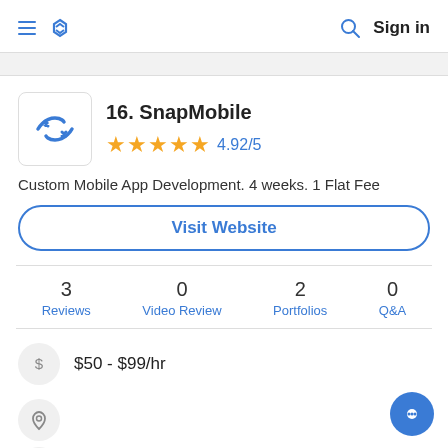SnapMobile directory listing page header with hamburger menu, logo, search icon, Sign in
16. SnapMobile
4.92/5
Custom Mobile App Development. 4 weeks. 1 Flat Fee
Visit Website
| 3 Reviews | 0 Video Review | 2 Portfolios | 0 Q&A |
| --- | --- | --- | --- |
$50 - $99/hr
10 - 49